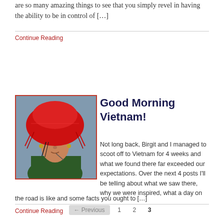are so many amazing things to see that you simply revel in having the ability to be in control of [...]
Continue Reading
Good Morning Vietnam!
[Figure (photo): Portrait photo of a woman wearing a large red traditional headdress/hat with tassels and traditional jewelry, outdoor background]
Not long back, Birgit and I managed to scoot off to Vietnam for 4 weeks and what we found there far exceeded our expectations. Over the next 4 posts I'll be telling about what we saw there, why we were inspired, what a day on the road is like and some facts you ought to [...]
Continue Reading
← Previous  1  2  3